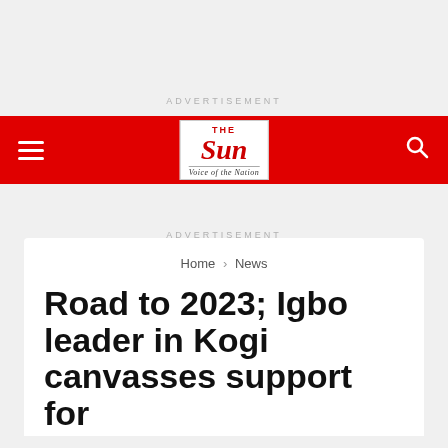ADVERTISEMENT
[Figure (logo): The Sun Nigeria newspaper logo - red banner with white italic 'Sun' text and tagline 'Voice of the Nation']
ADVERTISEMENT
Home > News
Road to 2023; Igbo leader in Kogi canvasses support for